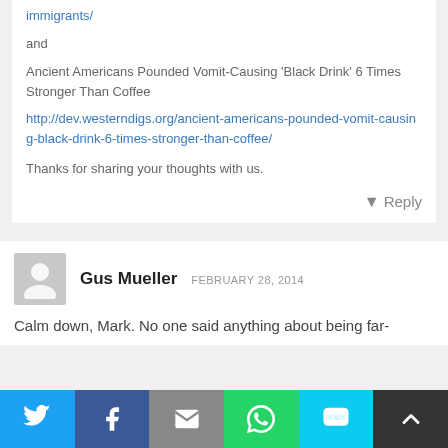immigrants/
and
Ancient Americans Pounded Vomit-Causing ‘Black Drink’ 6 Times Stronger Than Coffee http://dev.westerndigs.org/ancient-americans-pounded-vomit-causing-black-drink-6-times-stronger-than-coffee/
Thanks for sharing your thoughts with us.
Reply
Gus Mueller  FEBRUARY 28, 2014
Calm down, Mark. No one said anything about being far-